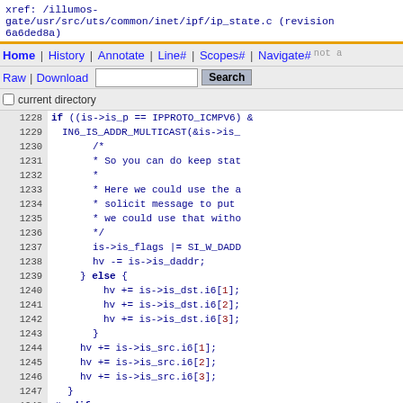xref: /illumos-gate/usr/src/uts/common/inet/ipf/ip_state.c (revision 6a6ded8a)
Home | History | Annotate | Line# | Scopes# | Navigate# | Raw | Download | Search | current directory
Code listing lines 1228-1250 of ip_state.c